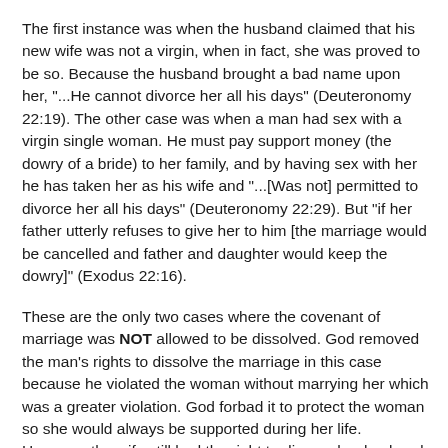The first instance was when the husband claimed that his new wife was not a virgin, when in fact, she was proved to be so. Because the husband brought a bad name upon her, "...He cannot divorce her all his days" (Deuteronomy 22:19). The other case was when a man had sex with a virgin single woman. He must pay support money (the dowry of a bride) to her family, and by having sex with her he has taken her as his wife and "...[Was not] permitted to divorce her all his days" (Deuteronomy 22:29). But "if her father utterly refuses to give her to him [the marriage would be cancelled and father and daughter would keep the dowry]" (Exodus 22:16).
These are the only two cases where the covenant of marriage was NOT allowed to be dissolved. God removed the man's rights to dissolve the marriage in this case because he violated the woman without marrying her which was a greater violation. God forbad it to protect the woman so she would always be supported during her life. However, the wife still had the right to divorce her husband even though her husband could not divorce his wife. The right to divorce has always existed in the case of a marriage